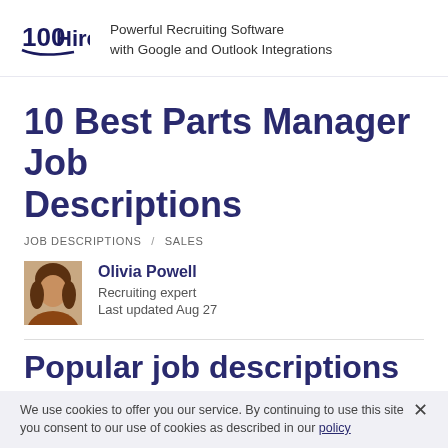100Hires — Powerful Recruiting Software with Google and Outlook Integrations
10 Best Parts Manager Job Descriptions
JOB DESCRIPTIONS / SALES
Olivia Powell
Recruiting expert
Last updated Aug 27
Popular job descriptions
Recruiter
We use cookies to offer you our service. By continuing to use this site you consent to our use of cookies as described in our policy